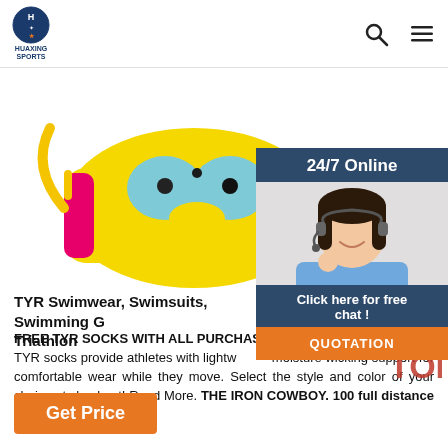HUAXING SPORTS
[Figure (photo): Yellow novelty bag with cartoon character face design in yellow, pink and light blue, with shoulder strap]
[Figure (photo): 24/7 Online customer service panel with female agent wearing headset and blue shirt, with 'Click here for free chat!' and 'QUOTATION' button]
TYR Swimwear, Swimsuits, Swimming Gear & Triathlon
FREE TYR SOCKS WITH ALL PURCHASES! TYR socks provide athletes with lightweight, moisture wicking support for comfortable wear while they move. Select the style and color of your choice at checkout! Read More. THE IRON COWBOY. 100 full distance triathlons in 100 days!
Get Price